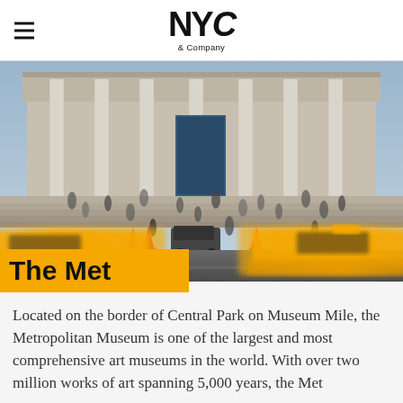NYC & Company
[Figure (photo): Exterior photo of The Metropolitan Museum of Art with its classical columns and steps crowded with visitors. Yellow taxi cabs blur past in the foreground on Fifth Avenue. Orange traffic cones and a utility vehicle are visible near the entrance.]
The Met
Located on the border of Central Park on Museum Mile, the Metropolitan Museum is one of the largest and most comprehensive art museums in the world. With over two million works of art spanning 5,000 years, the Met